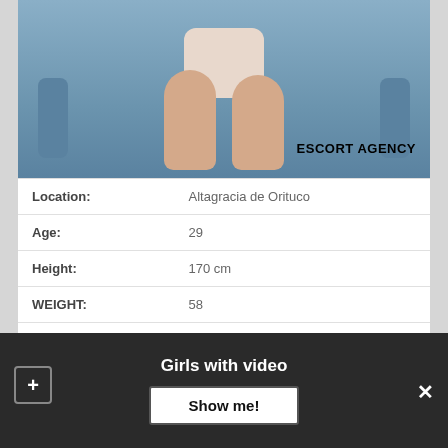[Figure (photo): Person sitting on a blue chair, wearing a white lace bodysuit, legs visible. Watermark text 'ESCORT AGENCY' overlaid on the lower portion of the image.]
| Location: | Altagracia de Orituco |
| Age: | 29 |
| Height: | 170 cm |
| WEIGHT: | 58 |
| Time to call ☎: | 11:00 – 23:00 |
| Couples: | +60$ |
Girls with video
Show me!